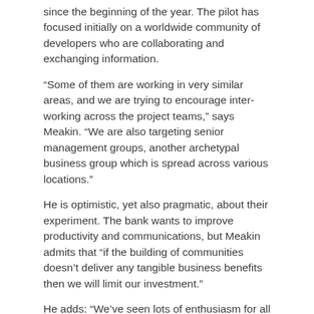since the beginning of the year. The pilot has focused initially on a worldwide community of developers who are collaborating and exchanging information.
“Some of them are working in very similar areas, and we are trying to encourage inter-working across the project teams,” says Meakin. “We are also targeting senior management groups, another archetypal business group which is spread across various locations.”
He is optimistic, yet also pragmatic, about their experiment. The bank wants to improve productivity and communications, but Meakin admits that “if the building of communities doesn’t deliver any tangible business benefits then we will limit our investment.”
He adds: “We’ve seen lots of enthusiasm for all sorts of different potential uses, which we’re trying to foster, but we are not sufficiently naive to believe that this will run itself and that all uses will be beneficial. We obviously need to monitor carefully the degree of business use and if we don’t think that it gives real business benefits, we will rein in the extent to which we invest in the platform.”